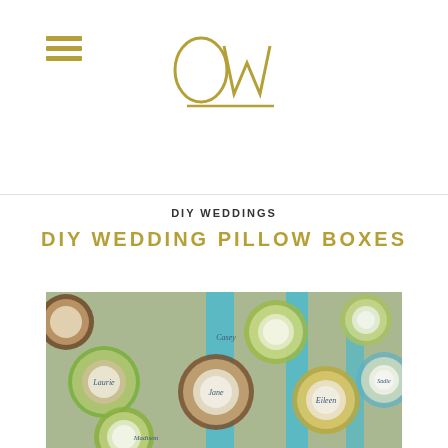OW (logo)
DIY WEDDINGS
DIY WEDDING PILLOW BOXES
[Figure (photo): Decorative paper rosette place card holders in green, cream, brown, and blue colors with ribbon streamers. Several rosettes have names written in script: Casey, Laurie, Jane, Madison, Eileen, and others. The rosettes are arranged on a flat surface.]